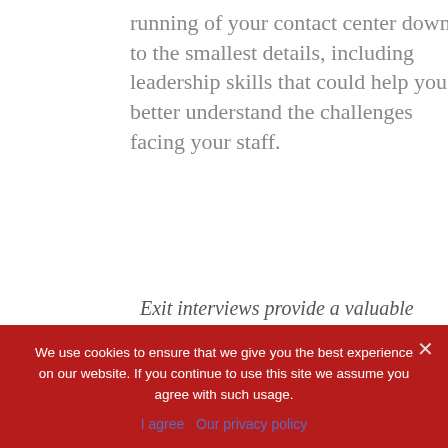running of your contact center down to the smallest details, including leadership skills that could help you better understand the challenges facing your staff.
Exit interviews provide a valuable opportunity to learn how you can improve your
We use cookies to ensure that we give you the best experience on our website. If you continue to use this site we assume you agree with such usage.
I agree · Our privacy policy